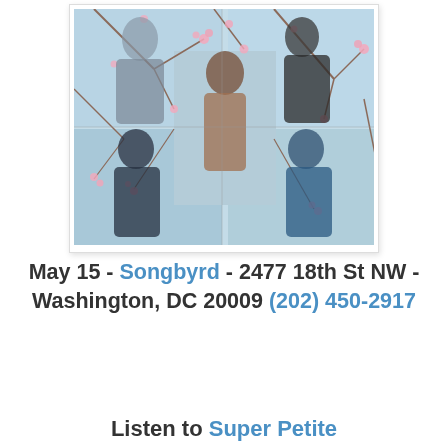[Figure (photo): Band photo collage of five men posed against a cherry blossom background. Top-left: tall man in grey sweater holding red cup. Top-right: man in black jacket and sunglasses. Center: man in brown leather jacket facing sideways. Bottom-left: man in black jacket with arms crossed. Bottom-right: man in blue floral shirt.]
May 15 - Songbyrd - 2477 18th St NW - Washington, DC 20009 (202) 450-2917
Listen to Super Petite